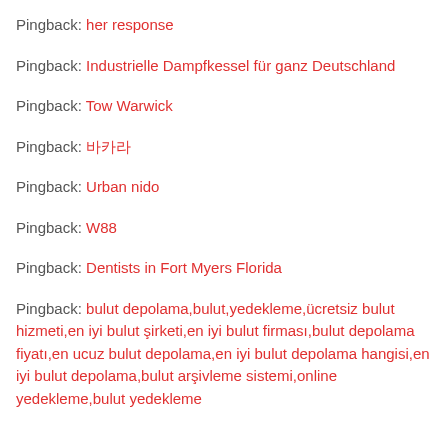Pingback: her response
Pingback: Industrielle Dampfkessel für ganz Deutschland
Pingback: Tow Warwick
Pingback: 바카라
Pingback: Urban nido
Pingback: W88
Pingback: Dentists in Fort Myers Florida
Pingback: bulut depolama,bulut,yedekleme,ücretsiz bulut hizmeti,en iyi bulut şirketi,en iyi bulut firması,bulut depolama fiyatı,en ucuz bulut depolama,en iyi bulut depolama hangisi,en iyi bulut depolama,bulut arşivleme sistemi,online yedekleme,bulut yedekleme